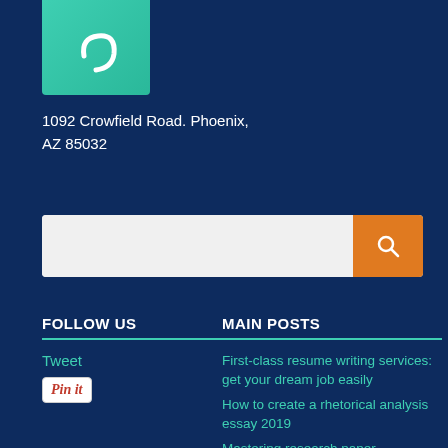[Figure (logo): Teal/green square icon with a white quotation mark or phone receiver shape]
1092 Crowfield Road. Phoenix, AZ 85032
[Figure (other): Search bar with orange search button (magnifying glass icon)]
FOLLOW US
Tweet
Pin it
MAIN POSTS
First-class resume writing services: get your dream job easily
How to create a rhetorical analysis essay 2019
Mastering research paper introduction skills in 2019
Business analyst resume